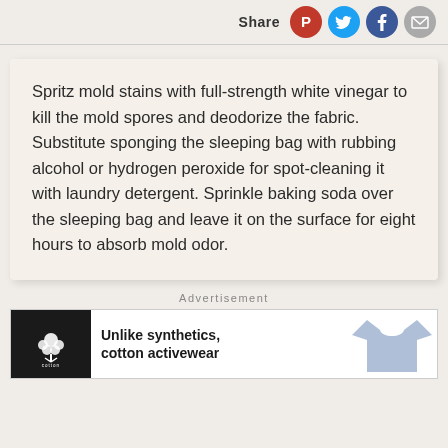Share
Spritz mold stains with full-strength white vinegar to kill the mold spores and deodorize the fabric. Substitute sponging the sleeping bag with rubbing alcohol or hydrogen peroxide for spot-cleaning it with laundry detergent. Sprinkle baking soda over the sleeping bag and leave it on the surface for eight hours to absorb mold odor.
Advertisement
[Figure (other): Cotton brand advertisement banner showing cotton logo on dark background with text 'Unlike synthetics, cotton activewear' and a blue t-shirt image]